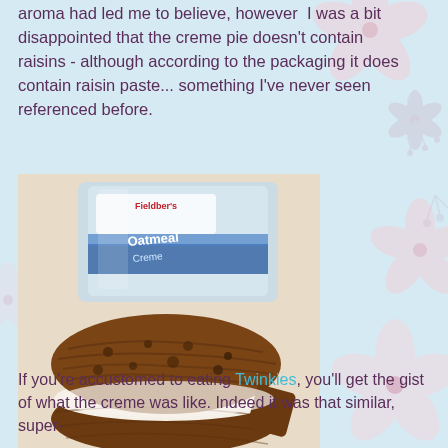aroma had led me to believe, however I was a bit disappointed that the creme pie doesn't contain raisins - although according to the packaging it does contain raisin paste... something I've never seen referenced before.
[Figure (photo): Photo of an oatmeal creme pie cookie sandwich (Fieldber's Oatmeal Creme) split open showing white cream filling, with the packaging visible in the background on a white cloth surface.]
If you're accustomed to eating Twinkies, you'll get the gist of what the creme was like. Indeed it was that similar, super-